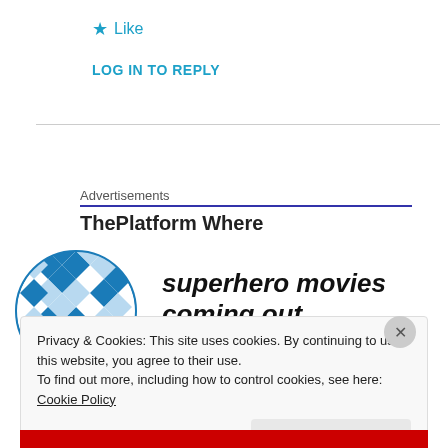★ Like
LOG IN TO REPLY
Advertisements
ThePlatform Where
[Figure (logo): Blue geometric sphere/globe logo made of diamond/rhombus tile pattern]
superhero movies coming out
Privacy & Cookies: This site uses cookies. By continuing to use this website, you agree to their use.
To find out more, including how to control cookies, see here: Cookie Policy
Close and accept